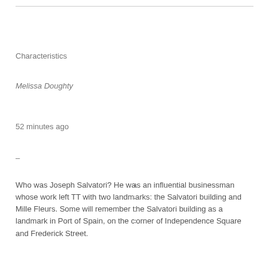Characteristics
Melissa Doughty
52 minutes ago
–
Who was Joseph Salvatori? He was an influential businessman whose work left TT with two landmarks: the Salvatori building and Mille Fleurs. Some will remember the Salvatori building as a landmark in Port of Spain, on the corner of Independence Square and Frederick Street.